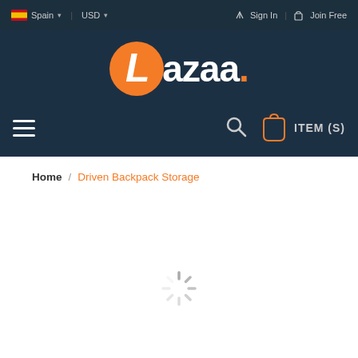Spain | USD | Sign In | Join Free
[Figure (logo): Lazada/Lazaa orange circle logo with white italic L and text 'Lazaa.' with orange dot]
[Figure (infographic): Navigation bar with hamburger menu icon on left, search icon and shopping bag icon with ITEM(S) label on right]
Home / Driven Backpack Storage
[Figure (infographic): Loading spinner animation at bottom of page]